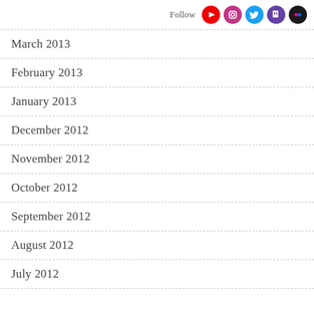[Figure (infographic): Follow social media icons: YouTube (red), Instagram (pink/red), Twitter (blue), Twitch (purple), Flickr (dark)]
March 2013
February 2013
January 2013
December 2012
November 2012
October 2012
September 2012
August 2012
July 2012